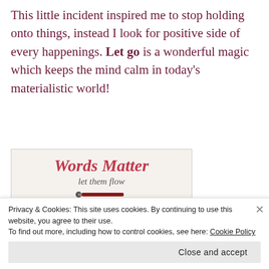This little incident inspired me to stop holding onto things, instead I look for positive side of every happenings. Let go is a wonderful magic which keeps the mind calm in today's materialistic world!
[Figure (illustration): Words Matter blog hop banner with decorative vine, pencil illustration, title 'Words Matter let them flow', and text 'Join this Monthly BlogHop with Corinna, Benji and Shalini']
Privacy & Cookies: This site uses cookies. By continuing to use this website, you agree to their use.
To find out more, including how to control cookies, see here: Cookie Policy
Close and accept